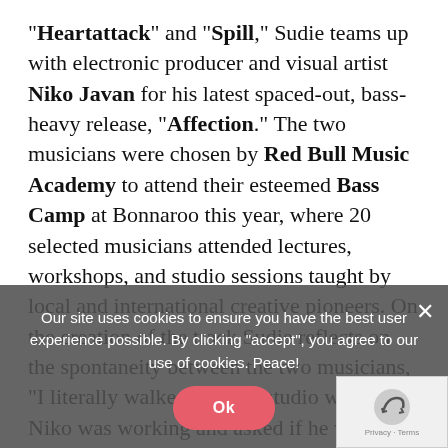“Heartattack” and “Spill,” Sudie teams up with electronic producer and visual artist Niko Javan for his latest spaced-out, bass-heavy release, “Affection.” The two musicians were chosen by Red Bull Music Academy to attend their esteemed Bass Camp at Bonnaroo this year, where 20 selected musicians attended lectures, workshops, and studio sessions taught by local and international creative pioneers. On the creation of the track Sudie reflects on the spontaneity between the two musicians, “I literally walked into the studio where Niko was working and asked if he wanted to work. He said sure. We grabbed the mic and I recorded everything in about 10 minutes and bam! There was.”
Our site uses cookies to ensure you have the best user experience possible. By clicking “accept”, you agree to our use of cookies. Peace!